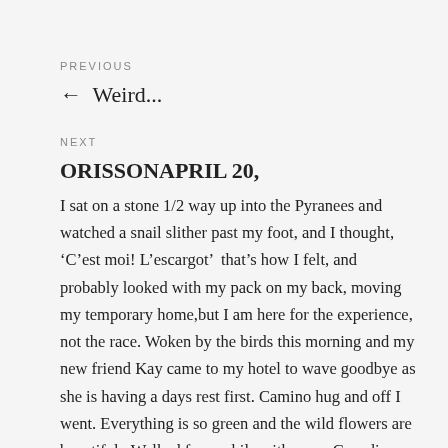PREVIOUS
← Weird...
NEXT
ORISSONAPRIL 20,
I sat on a stone 1/2 way up into the Pyranees and watched a snail slither past my foot, and I thought, 'C'est moi! L'escargot'  that's how I felt, and probably looked with my pack on my back, moving my temporary home,but I am here for the experience, not the race. Woken by the birds this morning and my new friend Kay came to my hotel to wave goodbye as she is having a days rest first. Camino hug and off I went. Everything is so green and the wild flowers are beautiful.  Walked for a while with some Canadians who just wanted me to keep talking so they could listen to my